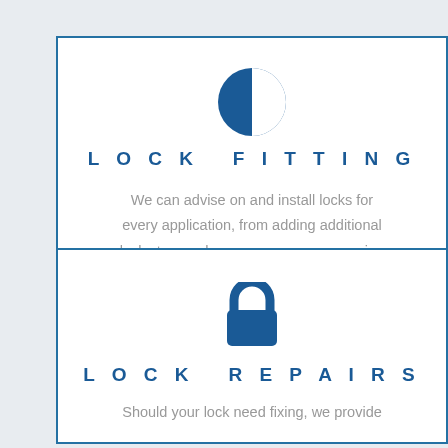[Figure (illustration): Half-circle / contrast icon representing lock fitting, blue and white circle split vertically]
LOCK FITTING
We can advise on and install locks for every application, from adding additional locks to your home or garage, or opening locks you have lost the key for.
[Figure (illustration): Padlock icon in blue representing lock repairs]
LOCK REPAIRS
Should your lock need fixing, we provide